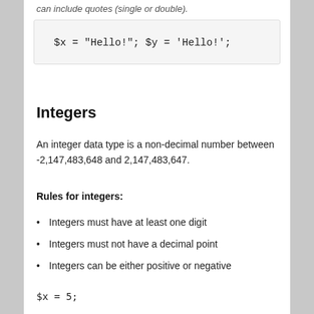can include quotes (single or double).
$x = "Hello!"; $y = 'Hello!';
Integers
An integer data type is a non-decimal number between -2,147,483,648 and 2,147,483,647.
Rules for integers:
Integers must have at least one digit
Integers must not have a decimal point
Integers can be either positive or negative
$x = 5;